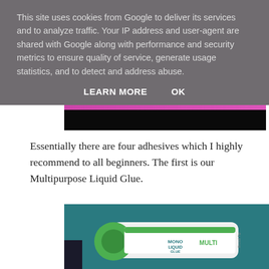This site uses cookies from Google to deliver its services and to analyze traffic. Your IP address and user-agent are shared with Google along with performance and security metrics to ensure quality of service, generate usage statistics, and to detect and address abuse.
LEARN MORE   OK
[Figure (photo): Black bar with pink/purple strip at top, partially cropped view]
Essentially there are four adhesives which I highly recommend to all beginners. The first is our Multipurpose Liquid Glue.
[Figure (photo): Photo of a Tombow MONO Multipurpose Liquid Glue tube with a green cap on a teal/dark blue paper background]